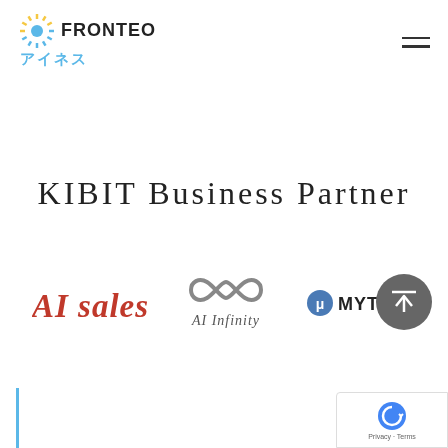[Figure (logo): FRONTEO Aines logo with sunburst icon and Japanese text アイネス]
[Figure (other): Hamburger menu icon (two horizontal lines) top right]
KIBIT Business Partner
[Figure (logo): AI sales logo in red italic serif font]
[Figure (logo): AI Infinity logo with infinity symbol]
[Figure (logo): μMYTHOS logo in dark with blue accent]
[Figure (other): Scroll-to-top circular button with up arrow]
[Figure (other): UK flag with English language selector]
[Figure (other): reCAPTCHA badge partial bottom right]